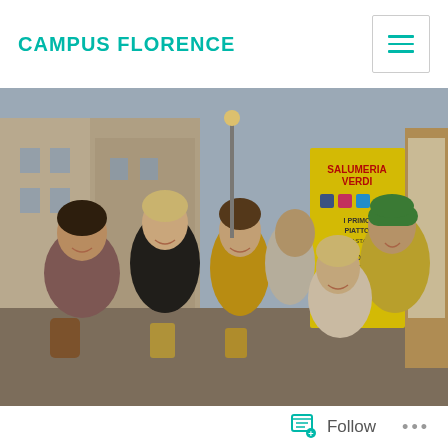CAMPUS FLORENCE
[Figure (photo): Group of smiling students standing outside a trattoria/salumeria in Florence, Italy. A yellow sign for 'Salumeria Verdi' is visible in the background with menu items. Students are holding food and drinks, posing happily on a narrow Italian street.]
Follow ...